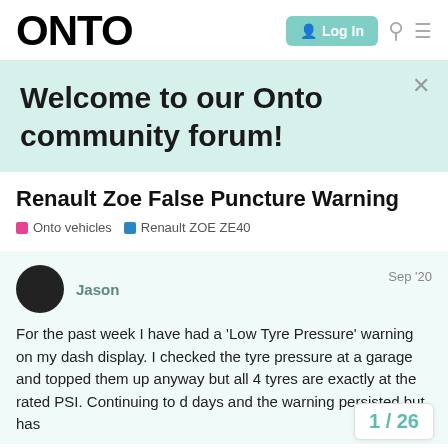ONTO | Log In
Welcome to our Onto community forum!
Renault Zoe False Puncture Warning
Onto vehicles   Renault ZOE ZE40
Jason   Sep '20
For the past week I have had a 'Low Tyre Pressure' warning on my dash display. I checked the tyre pressure at a garage and topped them up anyway but all 4 tyres are exactly at the rated PSI. Continuing to drive for several days and the warning persisted but has
1 / 26